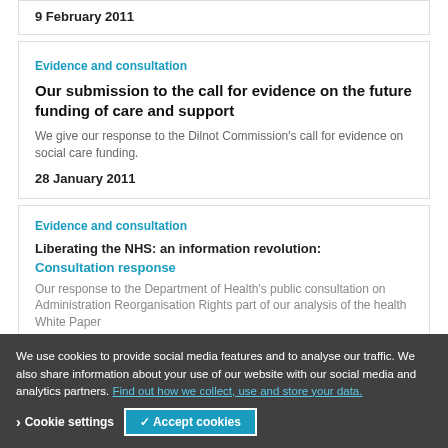9 February 2011
Evidence and consultation
Our submission to the call for evidence on the future funding of care and support
We give our response to the Dilnot Commission's call for evidence on social care funding.
28 January 2011
Evidence and consultation
Liberating the NHS: an information revolution: Consultation response
Our response to the Department of Health's public consultation on Administration Reorganisation Rights part of our analysis of the health White Paper
We use cookies to provide social media features and to analyse our traffic. We also share information about your use of our website with our social media and analytics partners. Find out how we collect, use and store your data.
Cookie settings
✓ Accept cookies